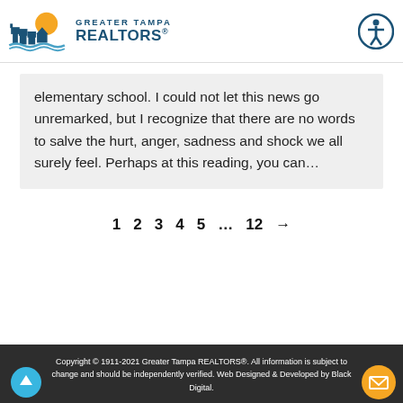Greater Tampa REALTORS®
elementary school. I could not let this news go unremarked, but I recognize that there are no words to salve the hurt, anger, sadness and shock we all surely feel. Perhaps at this reading, you can…
1  2  3  4  5  …  12  →
Copyright © 1911-2021 Greater Tampa REALTORS®. All information is subject to change and should be independently verified. Web Designed & Developed by Black Digital.